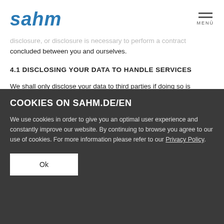sahm | MENÜ
disclosure, or disclosure is necessary to perform a contract concluded between you and ourselves.
4.1 DISCLOSING YOUR DATA TO HANDLE SERVICES
We shall only disclose your data to third parties if doing so is
COOKIES ON SAHM.DE/EN
We use cookies in order to give you an optimal user experience and constantly improve our website. By continuing to browse you agree to our use of cookies. For more information please refer to our Privacy Policy.
Ok